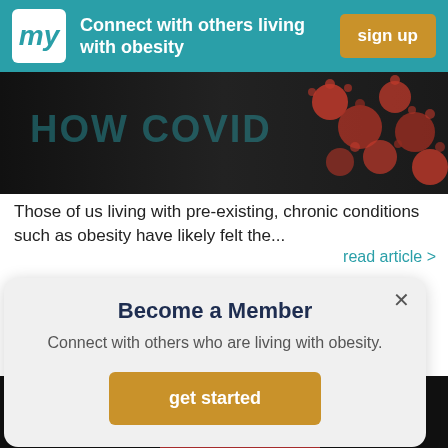my | Connect with others living with obesity | sign up
[Figure (photo): Dark background with red coronavirus particles visible on the right side — article hero image]
Those of us living with pre-existing, chronic conditions such as obesity have likely felt the...
read article >
Become a Member
Connect with others who are living with obesity.
get started
[Figure (photo): Bottom portion showing a glass jar on a wooden surface with paper notes inside, against a dark and red background. Notes read 'Waking up feeling...' and other partial text.]